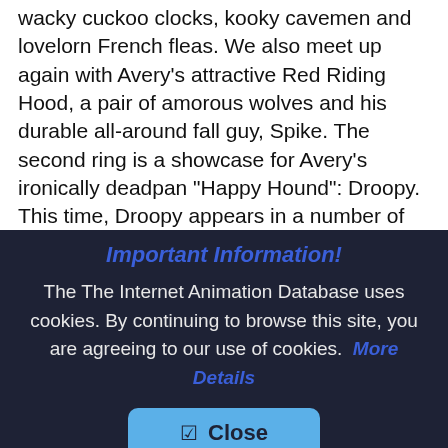wacky cuckoo clocks, kooky cavemen and lovelorn French fleas. We also meet up again with Avery's attractive Red Riding Hood, a pair of amorous wolves and his durable all-around fall guy, Spike. The second ring is a showcase for Avery's ironically deadpan "Happy Hound": Droopy. This time, Droopy appears in a number of guises – each one funnier than the last. As bandleader "John Pettybone," he leads his jazz-playing fleas to the heights of canine stardom. Out West, as a homesteader and a
Important Information!
The The Internet Animation Database uses cookies. By continuing to browse this site, you are agreeing to our use of cookies. More Details